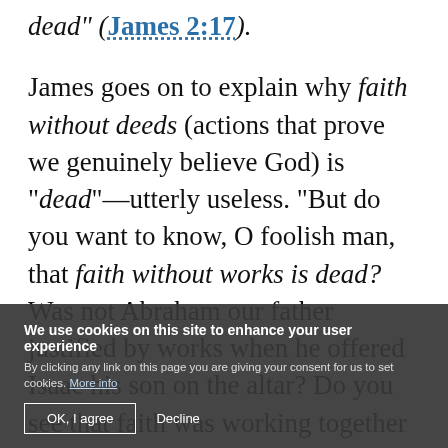dead" (James 2:17).
James goes on to explain why faith without deeds (actions that prove we genuinely believe God) is "dead"—utterly useless. "But do you want to know, O foolish man, that faith without works is dead? Was not Abraham our father justified by works when he offered Isaac his son on the altar? Do you see that faith was working together with his works, and by works faith was made perfect? And the Scripture was fulfilled which says, Abraham believed God, and it was accounted to him for righteousness.' And he was called the friend of God. You see then that a man is justified by works, and not by faith only ...
We use cookies on this site to enhance your user experience. By clicking any link on this page you are giving your consent for us to set cookies. More info